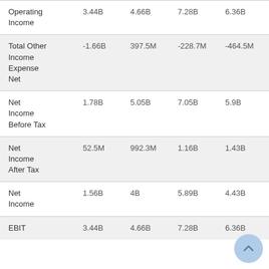|  | Col1 | Col2 | Col3 | Col4 |
| --- | --- | --- | --- | --- |
| Operating Income | 3.44B | 4.66B | 7.28B | 6.36B |
| Total Other Income Expense Net | -1.66B | 397.5M | -228.7M | -464.5M |
| Net Income Before Tax | 1.78B | 5.05B | 7.05B | 5.9B |
| Net Income After Tax | 52.5M | 992.3M | 1.16B | 1.43B |
| Net Income | 1.56B | 4B | 5.89B | 4.43B |
| EBIT | 3.44B | 4.66B | 7.28B | 6.36B |